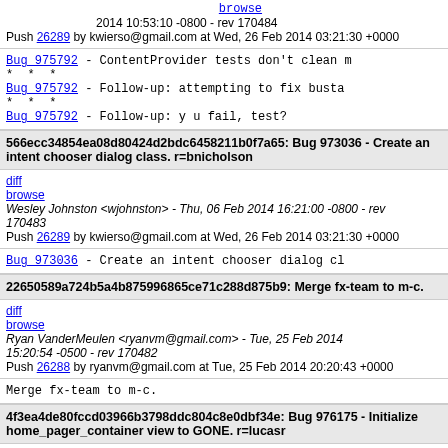2014 10:53:10 -0800 - rev 170484
Push 26289 by kwierso@gmail.com at Wed, 26 Feb 2014 03:21:30 +0000
Bug_975792 - ContentProvider tests don't clean
* * *
Bug_975792 - Follow-up: attempting to fix busta
* * *
Bug_975792 - Follow-up: y u fail, test?
566ecc34854ea08d80424d2bdc6458211b0f7a65: Bug 973036 - Create an intent chooser dialog class. r=bnicholson
diff
browse
Wesley Johnston <wjohnston> - Thu, 06 Feb 2014 16:21:00 -0800 - rev 170483
Push 26289 by kwierso@gmail.com at Wed, 26 Feb 2014 03:21:30 +0000
Bug_973036 - Create an intent chooser dialog cl
22650589a724b5a4b875996865ce71c288d875b9: Merge fx-team to m-c.
diff
browse
Ryan VanderMeulen <ryanvm@gmail.com> - Tue, 25 Feb 2014 15:20:54 -0500 - rev 170482
Push 26288 by ryanvm@gmail.com at Tue, 25 Feb 2014 20:20:43 +0000
Merge fx-team to m-c.
4f3ea4de80fccd03966b3798ddc804c8e0dbf34e: Bug 976175 - Initialize home_pager_container view to GONE. r=lucasr